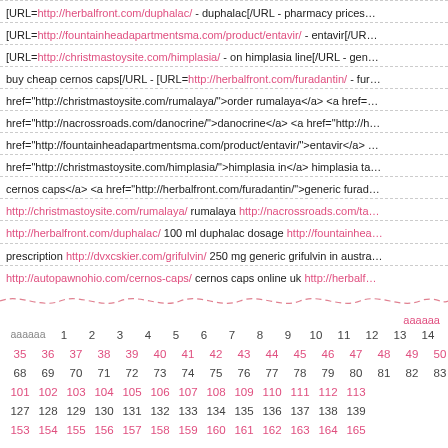[URL=http://herbalfront.com/duphalac/ - duphalac[/URL - pharmacy prices... [URL=http://fountainheadapartmentsma.com/product/entavir/ - entavir[/URL - ... [URL=http://christmastoysite.com/himplasia/ - on himplasia line[/URL - gen... buy cheap cernos caps[/URL - [URL=http://herbalfront.com/furadantin/ - fur... href="http://christmastoysite.com/rumalaya/">order rumalaya</a> <a href=... href="http://nacrossroads.com/danocrine/">danocrine</a> <a href="http://h... href="http://fountainheadapartmentsma.com/product/entavir/">entavir</a> ... href="http://christmastoysite.com/himplasia/">himplasia in</a> himplasia ta... cernos caps</a> <a href="http://herbalfront.com/furadantin/">generic furad... http://christmastoysite.com/rumalaya/ rumalaya http://nacrossroads.com/ta... http://herbalfront.com/duphalac/ 100 ml duphalac dosage http://fountainhea... prescription http://dvxcskier.com/grifulvin/ 250 mg generic grifulvin in austra... http://autopawnohio.com/cernos-caps/ cernos caps online uk http://herbalf...
[Figure (other): Wavy pink dashed divider line across the page]
ааааа
ааааа  1  2  3  4  5  6  7  8  9  10  11  12  13  14  15  16  17  18
35  36  37  38  39  40  41  42  43  44  45  46  47  48  49  50  51
68  69  70  71  72  73  74  75  76  77  78  79  80  81  82  83  84
101  102  103  104  105  106  107  108  109  110  111  112  113
127  128  129  130  131  132  133  134  135  136  137  138  139
153  154  155  156  157  158  159  160  161  162  163  164  165